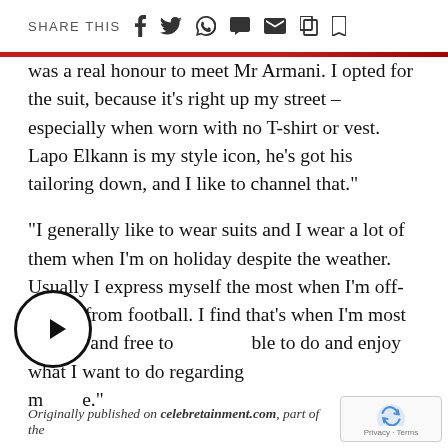SHARE THIS
was a real honour to meet Mr Armani. I opted for the suit, because it's right up my street – especially when worn with no T-shirt or vest. Lapo Elkann is my style icon, he's got his tailoring down, and I like to channel that."
“I generally like to wear suits and I wear a lot of them when I'm on holiday despite the weather. Usually I express myself the most when I'm off-season from football. I find that's when I'm most relaxed and free to be able to do and enjoy what I want to do regarding my style."
Originally published on celebretainment.com, part of the